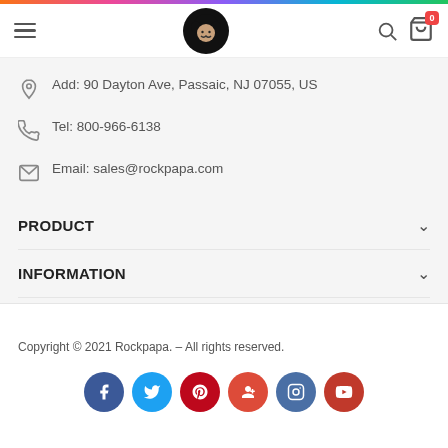Rockpapa website header with hamburger menu, logo, search, cart
Add: 90 Dayton Ave, Passaic, NJ 07055, US
Tel: 800-966-6138
Email: sales@rockpapa.com
PRODUCT
INFORMATION
Copyright © 2021 Rockpapa. – All rights reserved.